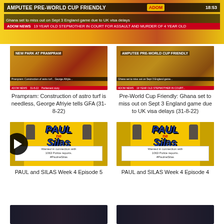[Figure (screenshot): TV news broadcast screenshot showing ADOM News with headline 'AMPUTEE PRE-WORLD CUP FRIENDLY' and ticker 'Ghana set to miss out on Sept 3 England game due to UK visa delays', time 18:53, ticker bar reading '19 YEAR OLD STEPMOTHER IN COURT FOR ASSAULT AND MURDER OF 4 YEAR OLD']
[Figure (screenshot): Video thumbnail of a TV news broadcast showing a reporter at 'NEW PARK AT PRAMPRAM' with lower third chyron]
Prampram: Construction of astro turf is needless, George Afriyie tells GFA (31-8-22)
[Figure (screenshot): Video thumbnail of a TV news broadcast showing person at 'AMPUTEE PRE-WORLD CUP FRIENDLY']
Pre-World Cup Friendly: Ghana set to miss out on Sept 3 England game due to UK visa delays (31-8-22)
[Figure (screenshot): Paul ne Silas video thumbnail with yellow background, blue logo text, and white banner reading 'Wanted in connection with 1063 Police reports. #PaulneSilas'. Has play button overlay.]
PAUL and SILAS Week 4 Episode 5
[Figure (screenshot): Paul ne Silas video thumbnail with yellow background, blue logo text, and white banner reading 'Wanted in connection with 1063 Police reports. #PaulneSilas'.]
PAUL and SILAS Week 4 Episode 4
[Figure (screenshot): Partial video thumbnail at bottom left, dark background]
[Figure (screenshot): Partial video thumbnail at bottom right, dark background]